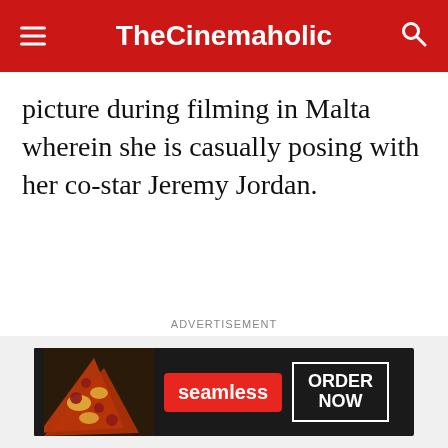TheCinemaholic
picture during filming in Malta wherein she is casually posing with her co-star Jeremy Jordan.
ADVERTISEMENT
[Figure (other): Seamless food delivery advertisement banner showing pizza slices on the left, a red Seamless logo button in the center, and an 'ORDER NOW' button on the right, on a dark background.]